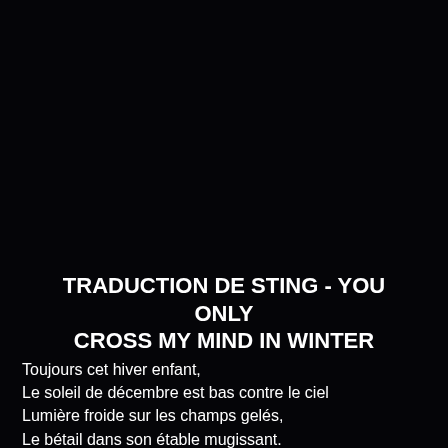TRADUCTION DE STING - YOU ONLY CROSS MY MIND IN WINTER
Toujours cet hiver enfant,
Le soleil de décembre est bas contre le ciel
Lumière froide sur les champs gelés,
Le bétail dans son étable mugissant.